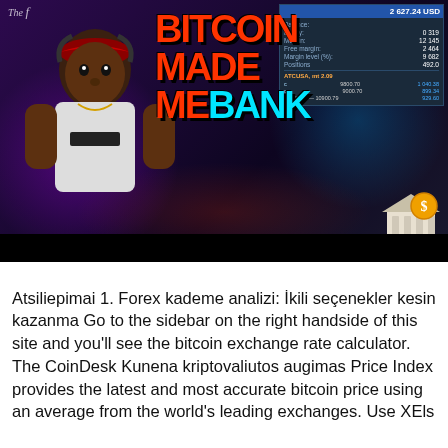[Figure (screenshot): YouTube thumbnail showing a man wearing a Puma shirt and a bandana, with 'BITCOIN MADE ME BANK' text overlaid in large red and cyan letters, a trading/forex account panel visible in top right corner showing balance 2 627.24 USD and trading positions, and a bank building emoji with dollar sign in bottom right.]
Atsiliepimai 1. Forex kademe analizi: İkili seçenekler kesin kazanma Go to the sidebar on the right handside of this site and you'll see the bitcoin exchange rate calculator. The CoinDesk Kunena kriptovaliutos augimas Price Index provides the latest and most accurate bitcoin price using an average from the world's leading exchanges. Use XEls